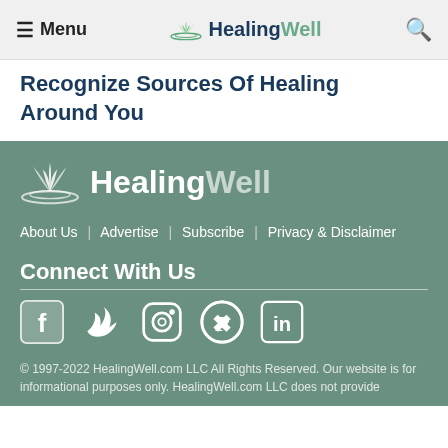≡ Menu | HealingWell | 🔍
Recognize Sources Of Healing Around You
[Figure (logo): HealingWell logo with lotus flower icon, white on green background]
About Us | Advertise | Subscribe | Privacy & Disclaimer
Connect With Us
[Figure (infographic): Social media icons: Facebook, Twitter, Instagram, Pinterest, LinkedIn]
© 1997-2022 HealingWell.com LLC All Rights Reserved. Our website is for informational purposes only. HealingWell.com LLC does not provide